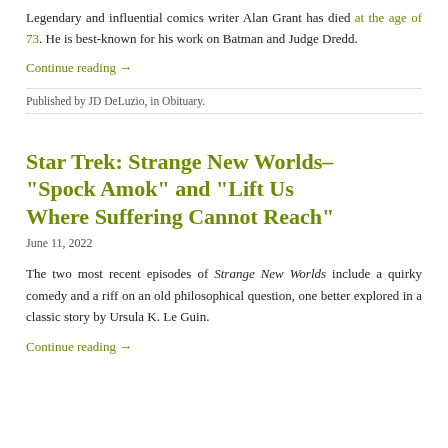Legendary and influential comics writer Alan Grant has died at the age of 73. He is best-known for his work on Batman and Judge Dredd.
Continue reading →
Published by JD DeLuzio, in Obituary.
Star Trek: Strange New Worlds–"Spock Amok" and "Lift Us Where Suffering Cannot Reach"
June 11, 2022
The two most recent episodes of Strange New Worlds include a quirky comedy and a riff on an old philosophical question, one better explored in a classic story by Ursula K. Le Guin.
Continue reading →